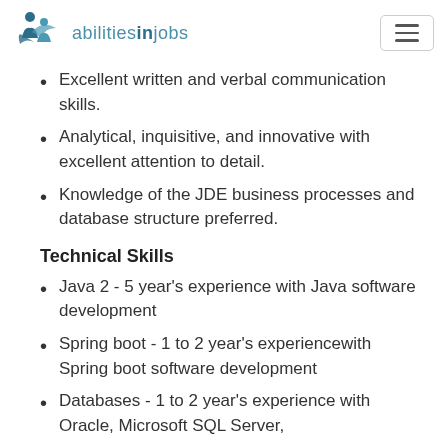abilitiesinjobs
Excellent written and verbal communication skills.
Analytical, inquisitive, and innovative with excellent attention to detail.
Knowledge of the JDE business processes and database structure preferred.
Technical Skills
Java 2 - 5 year's experience with Java software development
Spring boot - 1 to 2 year's experiencewith Spring boot software development
Databases - 1 to 2 year's experience with Oracle, Microsoft SQL Server,